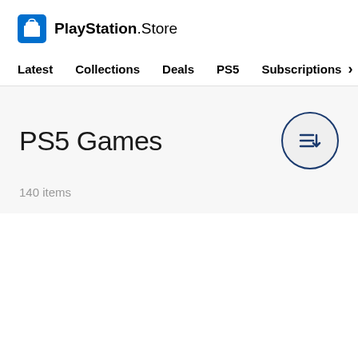PlayStation.Store
Latest
Collections
Deals
PS5
Subscriptions
PS5 Games
140 items